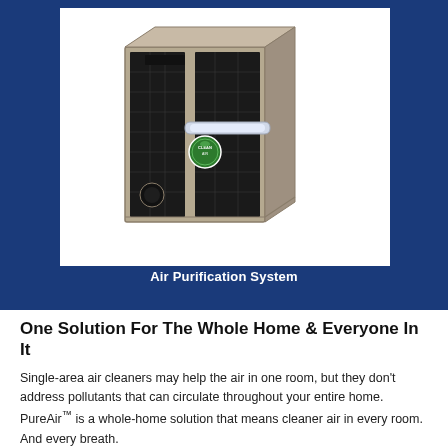[Figure (photo): Air purification system unit — a rectangular metal box (tan/grey steel housing) with black filter media visible inside, a UV lamp tube across the middle, a circular port on the lower front, a small display slot at the top, and a round green certification/logo badge on the side.]
Air Purification System
One Solution For The Whole Home & Everyone In It
Single-area air cleaners may help the air in one room, but they don't address pollutants that can circulate throughout your entire home. PureAir™ is a whole-home solution that means cleaner air in every room. And every breath.